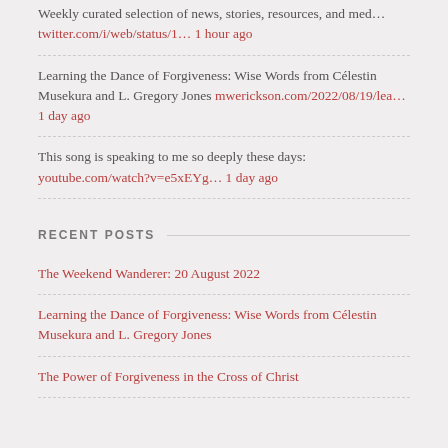Weekly curated selection of news, stories, resources, and med… twitter.com/i/web/status/1… 1 hour ago
Learning the Dance of Forgiveness: Wise Words from Célestin Musekura and L. Gregory Jones mwerickson.com/2022/08/19/lea… 1 day ago
This song is speaking to me so deeply these days: youtube.com/watch?v=e5xEYg… 1 day ago
RECENT POSTS
The Weekend Wanderer: 20 August 2022
Learning the Dance of Forgiveness: Wise Words from Célestin Musekura and L. Gregory Jones
The Power of Forgiveness in the Cross of Christ